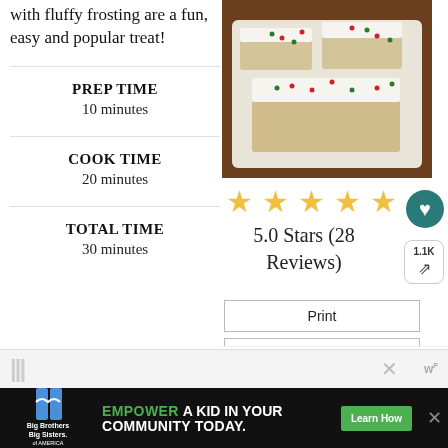with fluffy frosting are a fun, easy and popular treat!
[Figure (photo): Photo of white frosted bars with red and green sprinkles on a serving tray]
PREP TIME
10 minutes
[Figure (infographic): 5 gold star rating icons]
5.0 Stars (28 Reviews)
COOK TIME
20 minutes
TOTAL TIME
30 minutes
Print
Save
WHAT'S NEXT → Funfetti Sugar Cookie Bars
[Figure (photo): Thumbnail of Funfetti Sugar Cookie Bars]
EMPOWER A KID IN YOUR COMMUNITY TODAY.
Learn How